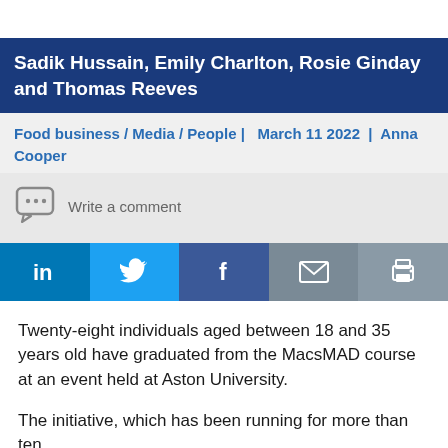Sadik Hussain, Emily Charlton, Rosie Ginday and Thomas Reeves
Food business / Media / People |   March 11 2022  |  Anna Cooper
[Figure (other): Comment icon (speech bubble with ellipsis) and 'Write a comment' text field placeholder]
[Figure (other): Social sharing buttons row: LinkedIn (in), Twitter (bird icon), Facebook (f), Email (envelope icon), Print (printer icon)]
Twenty-eight individuals aged between 18 and 35 years old have graduated from the MacsMAD course at an event held at Aston University.
The initiative, which has been running for more than ten